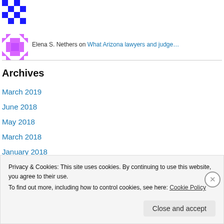[Figure (illustration): Blue pixel art avatar (top, partially visible)]
Elena S. Nethers on What Arizona lawyers and judge…
[Figure (illustration): Purple/magenta pixel art avatar]
Archives
March 2019
June 2018
May 2018
March 2018
January 2018
Privacy & Cookies: This site uses cookies. By continuing to use this website, you agree to their use.
To find out more, including how to control cookies, see here: Cookie Policy
Close and accept